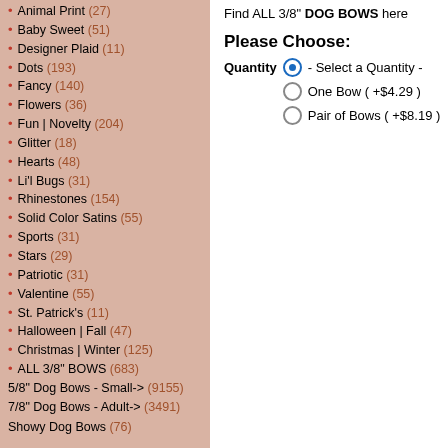Animal Print (27)
Baby Sweet (51)
Designer Plaid (11)
Dots (193)
Fancy (140)
Flowers (36)
Fun | Novelty (204)
Glitter (18)
Hearts (48)
Li'l Bugs (31)
Rhinestones (154)
Solid Color Satins (55)
Sports (31)
Stars (29)
Patriotic (31)
Valentine (55)
St. Patrick's (11)
Halloween | Fall (47)
Christmas | Winter (125)
ALL 3/8" BOWS (683)
5/8" Dog Bows - Small-> (9155)
7/8" Dog Bows - Adult-> (3491)
Showy Dog Bows (76)
Boutique Dog Bows (50)
Boutique Dog Bows - Mini (264)
Boutique Dog Bows - Petite (29)
Boutique Dog Bows - Baby (45)
Boutique Style - Velvet Minis (14)
Korker Dog Bows (47)
Korker Dog Bows - Mini (54)
BARRETTES | CLIPS > (558)
Find ALL 3/8" DOG BOWS here
Please Choose:
Quantity - Select a Quantity - / One Bow ( +$4.29 ) / Pair of Bows ( +$8.19 )